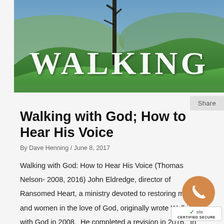[Figure (photo): Book cover image showing a green hillside landscape with a tree silhouette and the large title text 'WALKING' in white serif letters across the center]
Walking with God; How to Hear His Voice
By Dave Henning / June 8, 2017
Walking with God: How to Hear His Voice (Thomas Nelson- 2008, 2016) John Eldredge, director of Ransomed Heart, a ministry devoted to restoring men and women in the love of God, originally wrote Walking with God in 2008.  He completed a revision in 2016.  In the Introduction, John defines our deep need as human beings [...]